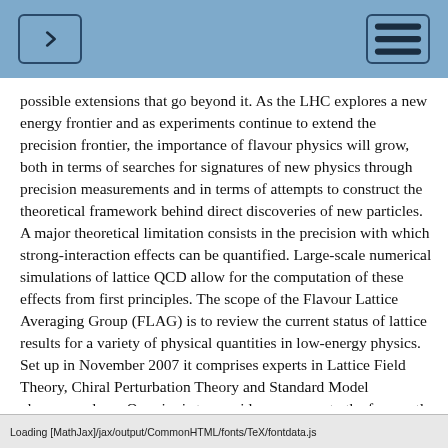possible extensions that go beyond it. As the LHC explores a new energy frontier and as experiments continue to extend the precision frontier, the importance of flavour physics will grow, both in terms of searches for signatures of new physics through precision measurements and in terms of attempts to construct the theoretical framework behind direct discoveries of new particles. A major theoretical limitation consists in the precision with which strong-interaction effects can be quantified. Large-scale numerical simulations of lattice QCD allow for the computation of these effects from first principles. The scope of the Flavour Lattice Averaging Group (FLAG) is to review the current status of lattice results for a variety of physical quantities in low-energy physics. Set up in November 2007 it comprises experts in Lattice Field Theory, Chiral Perturbation Theory and Standard Model phenomenology. Our aim is to provide an answer to the frequently posed question “What is currently the best lattice value for a particular quantity?” in a way that is readily accessible to nonlattice-experts. This is generally not an easy question to answer; different collaborations use different lattice actions (discretizations of QCD) with a range of
Loading [MathJax]/jax/output/CommonHTML/fonts/TeX/fontdata.js